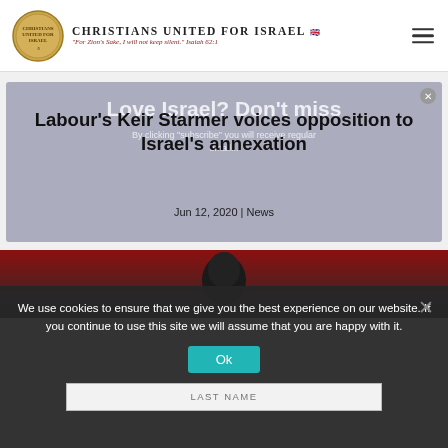Christians United for Israel — "For Zion's Sake, I will not keep silent." Isaiah 62:1
Labour's Keir Starmer voices opposition to Israel's annexation
Jun 12, 2020 | News
[Figure (screenshot): Subscribe overlay with text 'Love Israel? Don't miss' and form fields]
[Figure (photo): Red banner with partial head/person silhouette photo]
We use cookies to ensure that we give you the best experience on our website. If you continue to use this site we will assume that you are happy with it.
Ok